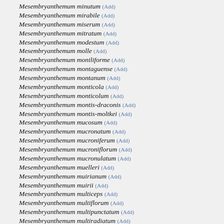Mesembryanthemum minutum (Add)
Mesembryanthemum mirabile (Add)
Mesembryanthemum miserum (Add)
Mesembryanthemum mitratum (Add)
Mesembryanthemum modestum (Add)
Mesembryanthemum molle (Add)
Mesembryanthemum moniliforme (Add)
Mesembryanthemum montaguense (Add)
Mesembryanthemum montanum (Add)
Mesembryanthemum monticola (Add)
Mesembryanthemum monticolum (Add)
Mesembryanthemum montis-draconis (Add)
Mesembryanthemum montis-moltkei (Add)
Mesembryanthemum mucosum (Add)
Mesembryanthemum mucronatum (Add)
Mesembryanthemum mucroniferum (Add)
Mesembryanthemum mucroniflorum (Add)
Mesembryanthemum mucronulatum (Add)
Mesembryanthemum muelleri (Add)
Mesembryanthemum muirianum (Add)
Mesembryanthemum muirii (Add)
Mesembryanthemum multiceps (Add)
Mesembryanthemum multiflorum (Add)
Mesembryanthemum multipunctatum (Add)
Mesembryanthemum multiradiatum (Add)
Mesembryanthemum multiseriatum (Add)
Mesembryanthemum munitum (Add)
Mesembryanthemum muricatum (Add)
Mesembryanthemum murinum (Add)
Mesembryanthemum musculinum (Add)